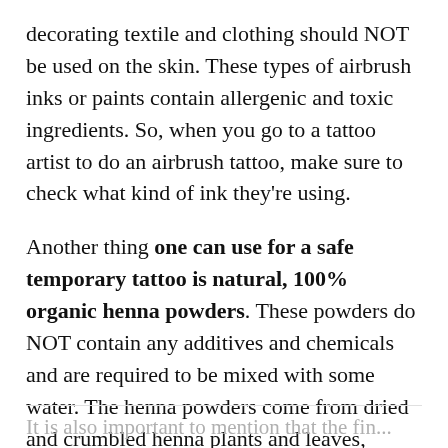decorating textile and clothing should NOT be used on the skin. These types of airbrush inks or paints contain allergenic and toxic ingredients. So, when you go to a tattoo artist to do an airbrush tattoo, make sure to check what kind of ink they're using.
Another thing one can use for a safe temporary tattoo is natural, 100% organic henna powders. These powders do NOT contain any additives and chemicals and are required to be mixed with some water. The henna powders come from dried and crumbled henna plants and leaves, which are safe for use on skin, hair, and materials like wool or leather.
It is also important to mention that the fin...